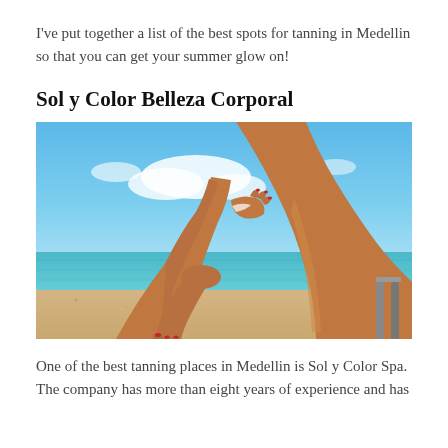I've put together a list of the best spots for tanning in Medellin so that you can get your summer glow on!
Sol y Color Belleza Corporal
[Figure (photo): Tanned woman's legs on a beach chair by the sea, applying sunscreen lotion to her leg, with blue sky and ocean in the background]
One of the best tanning places in Medellin is Sol y Color Spa. The company has more than eight years of experience and has